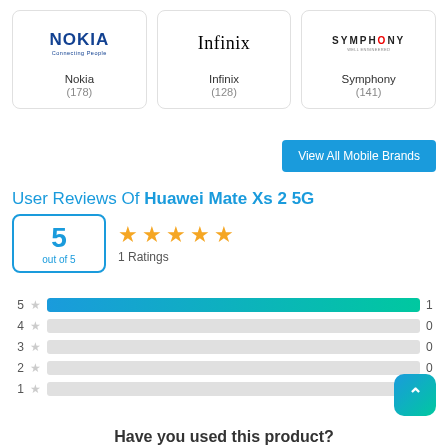[Figure (other): Nokia brand card with Nokia logo and 'Connecting People' tagline, name Nokia, count (178)]
[Figure (other): Infinix brand card with Infinix logo, name Infinix, count (128)]
[Figure (other): Symphony brand card with Symphony logo, name Symphony, count (141)]
View All Mobile Brands
User Reviews Of Huawei Mate Xs 2 5G
5 out of 5 — ★★★★★ — 1 Ratings
[Figure (bar-chart): Rating distribution]
Have you used this product?